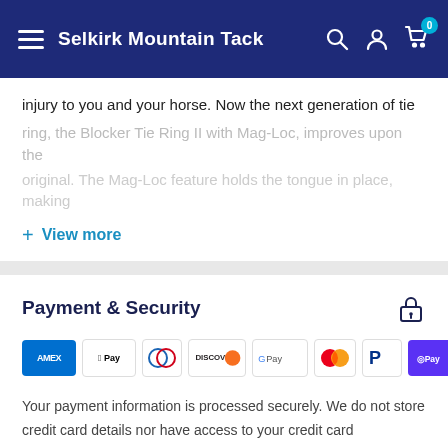Selkirk Mountain Tack
injury to you and your horse. Now the next generation of tie ring, the Blocker Tie Ring II with Mag-Loc, improves upon the original. The Mag-Loc feature holds the tongue in place, making
+ View more
Payment & Security
[Figure (other): Payment method logos: Amex, Apple Pay, Diners Club, Discover, Google Pay, Mastercard, PayPal, Shop Pay, Visa]
Your payment information is processed securely. We do not store credit card details nor have access to your credit card information.